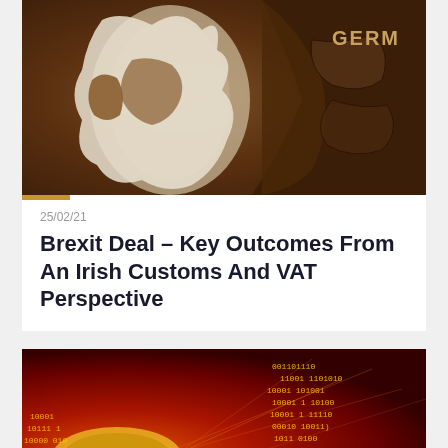[Figure (photo): Wooden map puzzle showing UK/Europe pieces with GERM (Germany) visible text]
25/02/21
Brexit Deal – Key Outcomes From An Irish Customs And VAT Perspective
[Figure (photo): Red digital background with binary code and cryptocurrency coin imagery]